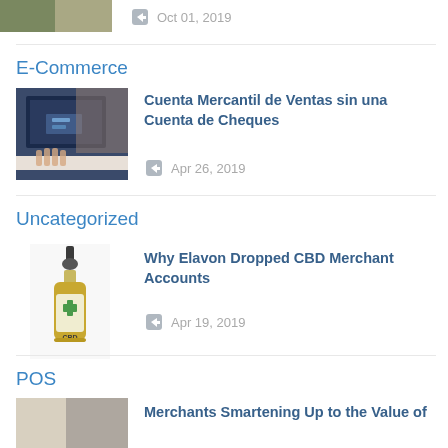[Figure (photo): Partial thumbnail of a photo (top, cropped) and date Oct 01, 2019]
Oct 01, 2019
E-Commerce
[Figure (photo): Person using a laptop computer, seen from above]
Cuenta Mercantil de Ventas sin una Cuenta de Cheques
Apr 26, 2019
Uncategorized
[Figure (photo): CBD oil dropper bottle with green cross label]
Why Elavon Dropped CBD Merchant Accounts
Apr 19, 2019
POS
[Figure (photo): Partial thumbnail photo for POS article]
Merchants Smartening Up to the Value of